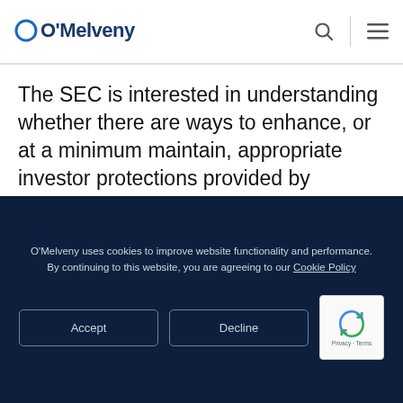O'Melveny
The SEC is interested in understanding whether there are ways to enhance, or at a minimum maintain, appropriate investor protections provided by periodic reporting and disclosure while also reducing the time and expense to companies in complying with quarterly reporting requirements, including by reducing unnecessary
O'Melveny uses cookies to improve website functionality and performance. By continuing to this website, you are agreeing to our Cookie Policy
Accept
Decline